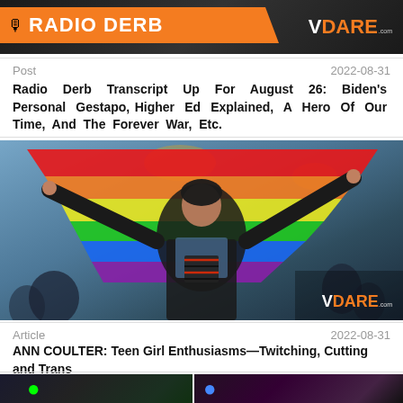[Figure (photo): Radio Derb banner with orange bar and VDare logo on dark background]
Post    2022-08-31
Radio Derb Transcript Up For August 26: Biden's Personal Gestapo, Higher Ed Explained, A Hero Of Our Time, And The Forever War, Etc.
[Figure (photo): Young person holding rainbow pride flag spread wide in a crowd, wearing black beanie and jacket with striped shirt. VDARE watermark in corner.]
Article    2022-08-31
ANN COULTER: Teen Girl Enthusiasms—Twitching, Cutting and Trans
[Figure (photo): Partial view of two images at bottom of page, one showing green glow and another showing blue/purple light]